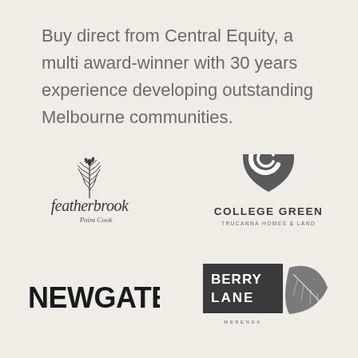Buy direct from Central Equity, a multi award-winner with 30 years experience developing outstanding Melbourne communities.
[Figure (logo): Featherbrook Point Cook logo — handwritten script text 'featherbrook' with 'Point Cook' underneath, with a wheat/feather illustration above]
[Figure (logo): College Green Trucanna Homes & Land logo — dark geometric leaf/shield shape with a 'G' letter graphic, bold text 'COLLEGE GREEN' and smaller text 'TRUCANNA HOMES & LAND']
[Figure (logo): NEWGATE logo — bold black uppercase sans-serif text 'NEWGATE']
[Figure (logo): Berry Lane Merenda logo — dark square with bold white stacked text 'BERRY LANE', grey leaf illustration, small text 'MERENDA' below]